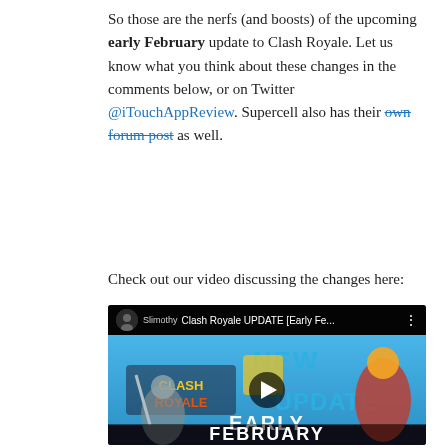So those are the nerfs (and boosts) of the upcoming early February update to Clash Royale. Let us know what you think about these changes in the comments below, or on Twitter @iTouchAppReview. Supercell also has their own forum post as well.
Check out our video discussing the changes here:
[Figure (screenshot): YouTube video embed showing 'Clash Royale UPDATE [Early Fe...' by channel Slimothy. Thumbnail shows Clash Royale game characters with 'NEW UPDATE EARLY FEBRUARY' text overlay and a play button in the center.]